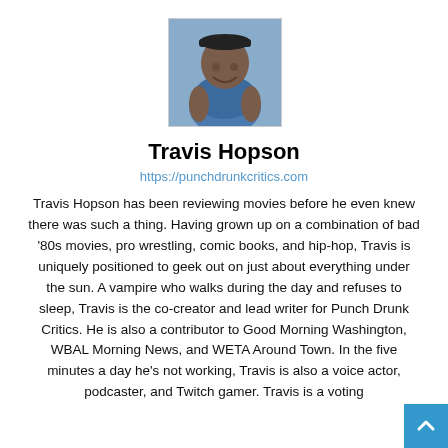[Figure (photo): Photo of Travis Hopson, a smiling man wearing a blue shirt and cap, photographed against a blue background.]
Travis Hopson
https://punchdrunkcritics.com
Travis Hopson has been reviewing movies before he even knew there was such a thing. Having grown up on a combination of bad '80s movies, pro wrestling, comic books, and hip-hop, Travis is uniquely positioned to geek out on just about everything under the sun. A vampire who walks during the day and refuses to sleep, Travis is the co-creator and lead writer for Punch Drunk Critics. He is also a contributor to Good Morning Washington, WBAL Morning News, and WETA Around Town. In the five minutes a day he's not working, Travis is also a voice actor, podcaster, and Twitch gamer. Travis is a voting